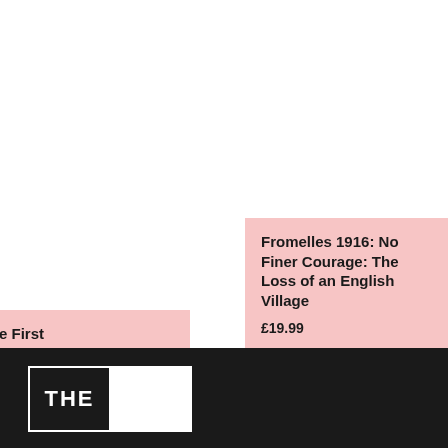[Figure (other): Product card (partially cropped on left): title beginning with 's of the First rld War: Somme 6', price starting with '09']
[Figure (other): Product card: 'Fromelles 1916: No Finer Courage: The Loss of an English Village', price £19.99]
[Figure (other): Product card (partially cropped on right): 'Deserters of the First World War: The Home Front', price £25.00]
[Figure (logo): Footer bar with 'THE' logo box on dark background]